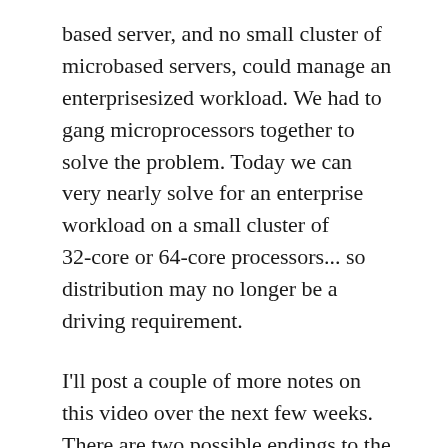based server, and no small cluster of micro-based servers, could manage an enterprise-sized workload. We had to gang micro-processors together to solve the problem. Today we can very nearly solve for an enterprise workload on a small cluster of 32-core or 64-core processors... so distribution may no longer be a driving requirement.
I'll post a couple of more notes on this video over the next few weeks. There are two possible endings to the video and we'll explore these future states.
Afterword